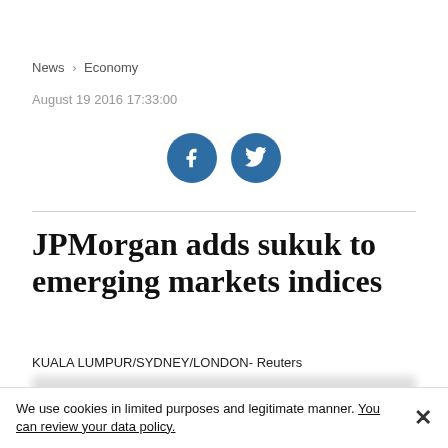News > Economy
August 19 2016 17:33:00
[Figure (other): Social media share buttons: Facebook and Twitter icons in blue circles]
JPMorgan adds sukuk to emerging markets indices
KUALA LUMPUR/SYDNEY/LONDON- Reuters
We use cookies in limited purposes and legitimate manner. You can review your data policy.